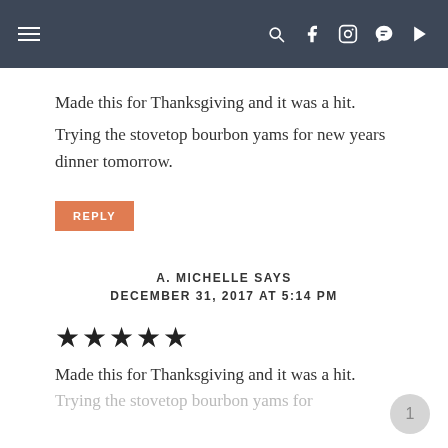≡  🔍 f 📷 𝗽 ▶
Made this for Thanksgiving and it was a hit.
Trying the stovetop bourbon yams for new years dinner tomorrow.
REPLY
A. MICHELLE SAYS
DECEMBER 31, 2017 AT 5:14 PM
★★★★★
Made this for Thanksgiving and it was a hit.
Trying the stovetop bourbon yams for